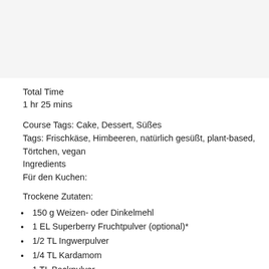Total Time
1 hr 25 mins
Course Tags: Cake, Dessert, Süßes
Tags: Frischkäse, Himbeeren, natürlich gesüßt, plant-based, Törtchen, vegan
Ingredients
Für den Kuchen:
Trockene Zutaten:
150 g Weizen- oder Dinkelmehl
1 EL Superberry Fruchtpulver (optional)*
1/2 TL Ingwerpulver
1/4 TL Kardamom
1 TL Backpulver
1/2 TL Natron
1 Prise Salz